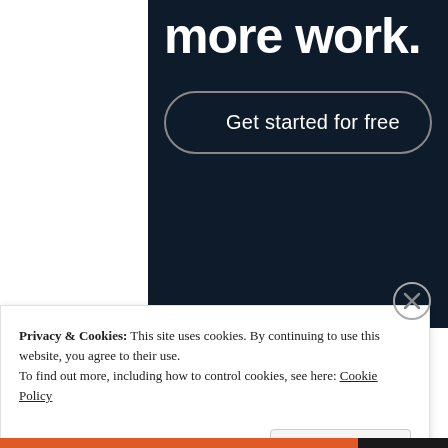more work.
Get started for free
Privacy & Cookies: This site uses cookies. By continuing to use this website, you agree to their use.
To find out more, including how to control cookies, see here: Cookie Policy
Close and accept